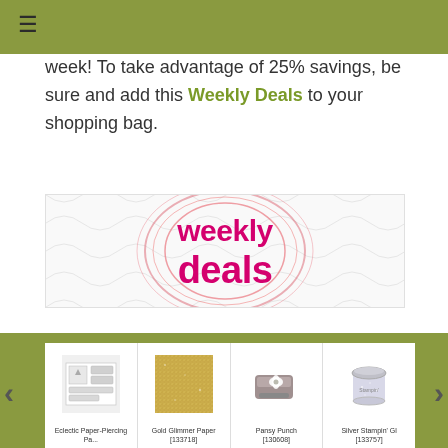≡
week! To take advantage of 25% savings, be sure and add this Weekly Deals to your shopping bag.
[Figure (illustration): Weekly Deals banner image with pink text 'weekly deals' on a decorative background with concentric circle patterns]
[Figure (photo): Row of product thumbnails: Eclectic Paper-Piercing Pack, Gold Glimmer Paper, Pansy Punch, Silver Stampin' Gl]
Eclectic Paper-Piercing Pack | Gold Glimmer Paper | Pansy Punch | Silver Stampin' Gl